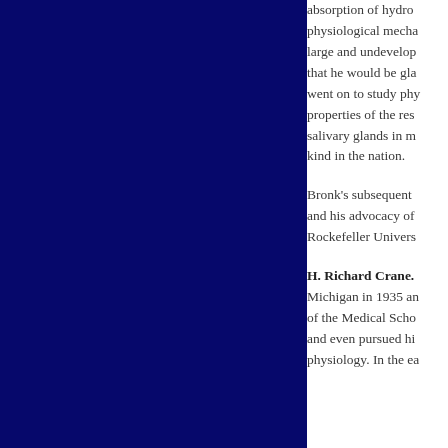absorption of hydro physiological mecha large and undevelop that he would be gla went on to study ph properties of the res salivary glands in m kind in the nation.
Bronk's subsequent and his advocacy of Rockefeller Univers
H. Richard Crane. Michigan in 1935 an of the Medical Scho and even pursued hi physiology. In the ea